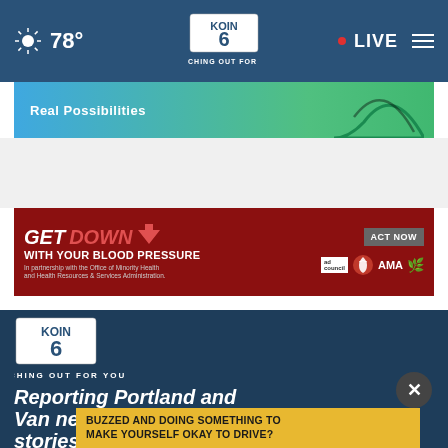78° KOIN 6 WATCHING OUT FOR YOU • LIVE
[Figure (screenshot): Top advertisement banner with blue/green gradient background and text 'Real Possibilities']
[Figure (screenshot): Red advertisement banner: GET DOWN WITH YOUR BLOOD PRESSURE - ACT NOW - ad council, American Heart Association, AMA logos - In partnership with the Office of Minority Health and Health Resources & Services Administration.]
[Figure (logo): KOIN 6 CBS logo with text WATCHING OUT FOR YOU]
Reporting Portland and Vancouver news, sports and weather stories to make
BUZZED AND DOING SOMETHING TO MAKE YOURSELF OKAY TO DRIVE?